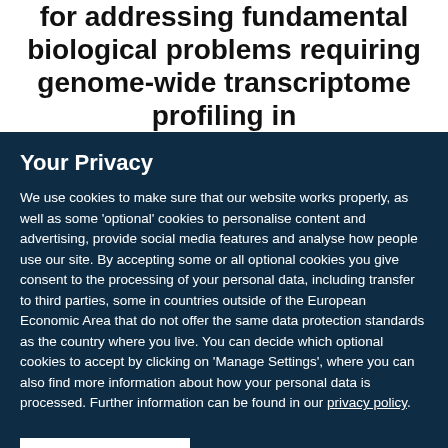for addressing fundamental biological problems requiring genome-wide transcriptome profiling in
Your Privacy
We use cookies to make sure that our website works properly, as well as some 'optional' cookies to personalise content and advertising, provide social media features and analyse how people use our site. By accepting some or all optional cookies you give consent to the processing of your personal data, including transfer to third parties, some in countries outside of the European Economic Area that do not offer the same data protection standards as the country where you live. You can decide which optional cookies to accept by clicking on 'Manage Settings', where you can also find more information about how your personal data is processed. Further information can be found in our privacy policy.
Accept all cookies
Manage preferences